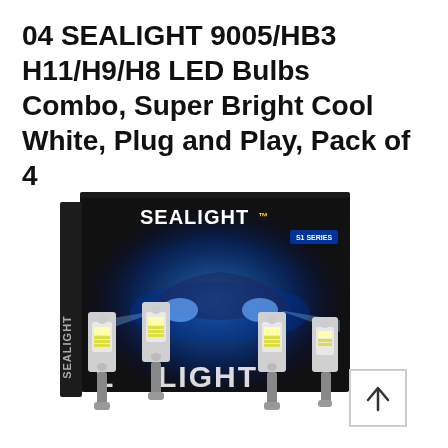04 SEALIGHT 9005/HB3 H11/H9/H8 LED Bulbs Combo, Super Bright Cool White, Plug and Play, Pack of 4
[Figure (photo): Product photo showing a SEALIGHT branded black box with car headlight imagery and four LED bulbs (9005/H11 combo) displayed in front, along with an up-arrow scroll button in the bottom right corner.]